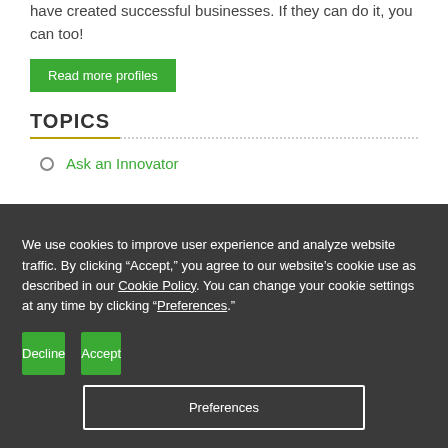have created successful businesses. If they can do it, you can too!
Read more profiles
TOPICS
Ask an Innovator
We use cookies to improve user experience and analyze website traffic. By clicking “Accept,” you agree to our website’s cookie use as described in our Cookie Policy. You can change your cookie settings at any time by clicking “Preferences.”
Decline
Accept
Preferences